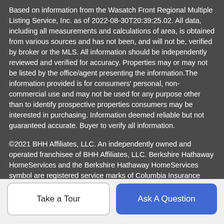Based on information from the Wasatch Front Regional Multiple Listing Service, Inc. as of 2022-08-30T20:39:25.02. All data, including all measurements and calculations of area, is obtained from various sources and has not been, and will not be, verified by broker or the MLS. All information should be independently reviewed and verified for accuracy. Properties may or may not be listed by the office/agent presenting the information.The information provided is for consumers' personal, non-commercial use and may not be used for any purpose other than to identify prospective properties consumers may be interested in purchasing. Information deemed reliable but not guaranteed accurate. Buyer to verify all information.
©2021 BHH Affiliates, LLC. An independently owned and operated franchisee of BHH Affiliates, LLC. Berkshire Hathaway HomeServices and the Berkshire Hathaway HomeServices symbol are registered service marks of Columbia Insurance Company, a Berkshire Hathaway affiliate. Equal Housing Opportunity.
Take a Tour
Ask A Question